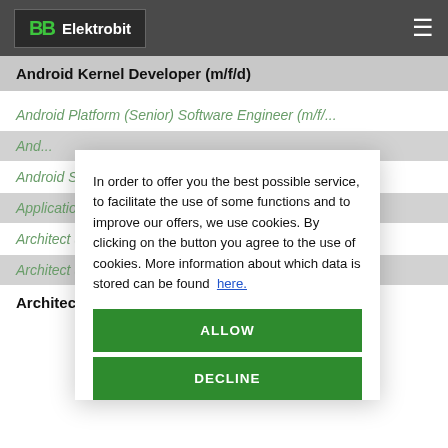Elektrobit
Android Kernel Developer (m/f/d)
Android Platform (Senior) Software Engineer (m/f/...
Android Software Developer/s
Application Architect (m/f/d)
Architect (m/f/d) for advanced vehicle systems
Architect (m/f/d) for EB tresos Safety
In order to offer you the best possible service, to facilitate the use of some functions and to improve our offers, we use cookies. By clicking on the button you agree to the use of cookies. More information about which data is stored can be found here.
ALLOW
DECLINE
Architect (m/f/d) for Test Automation